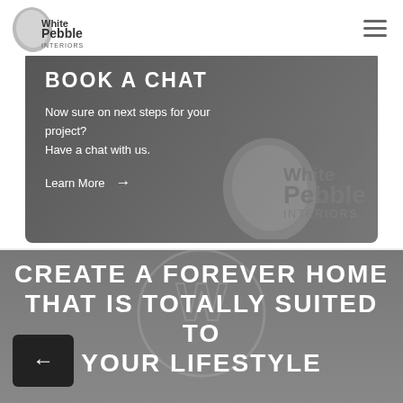WhitePebble INTERIORS
BOOK A CHAT
Now sure on next steps for your project? Have a chat with us.
Learn More →
[Figure (logo): White Pebble Interiors watermark logo inside dark card]
CREATE A FOREVER HOME THAT IS TOTALLY SUITED TO YOUR LIFESTYLE